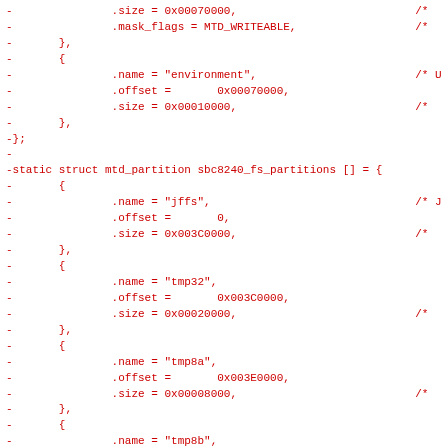Code diff showing removed lines from a C source file defining MTD partition structures for sbc8240 filesystem partitions including entries for environment, jffs, tmp32, tmp8a, and tmp8b partitions with their offsets and sizes.